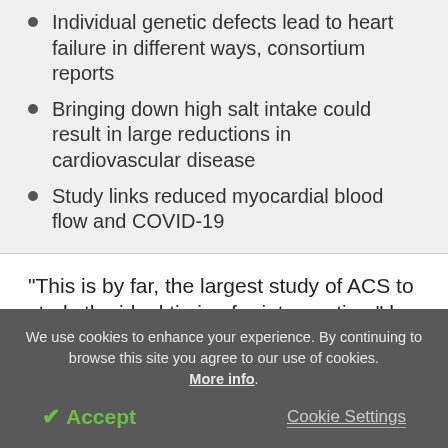Individual genetic defects lead to heart failure in different ways, consortium reports
Bringing down high salt intake could result in large reductions in cardiovascular disease
Study links reduced myocardial blood flow and COVID-19
"This is by far, the largest study of ACS to study the ideal timing for intervention," he said, adding that an earlier trial on the issue was too small to provide a
We use cookies to enhance your experience. By continuing to browse this site you agree to our use of cookies. More info.
✔ Accept
Cookie Settings